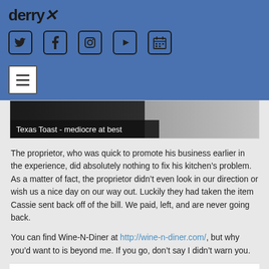derryX
[Figure (other): Social media icons: Twitter, Facebook, Instagram, YouTube/Play, Calendar]
[Figure (other): Hamburger menu navigation button]
[Figure (photo): Photo of Texas Toast with caption overlay reading: Texas Toast - mediocre at best]
Texas Toast - mediocre at best
The proprietor, who was quick to promote his business earlier in the experience, did absolutely nothing to fix his kitchen’s problem. As a matter of fact, the proprietor didn’t even look in our direction or wish us a nice day on our way out. Luckily they had taken the item Cassie sent back off of the bill. We paid, left, and are never going back.
You can find Wine-N-Diner at http://wine-n-diner.com/, but why you’d want to is beyond me. If you go, don’t say I didn’t warn you.